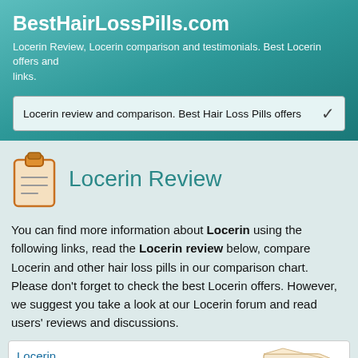BestHairLossPills.com
Locerin Review, Locerin comparison and testimonials. Best Locerin offers and links.
Locerin review and comparison. Best Hair Loss Pills offers
Locerin Review
You can find more information about Locerin using the following links, read the Locerin review below, compare Locerin and other hair loss pills in our comparison chart. Please don't forget to check the best Locerin offers. However, we suggest you take a look at our Locerin forum and read users' reviews and discussions.
Locerin